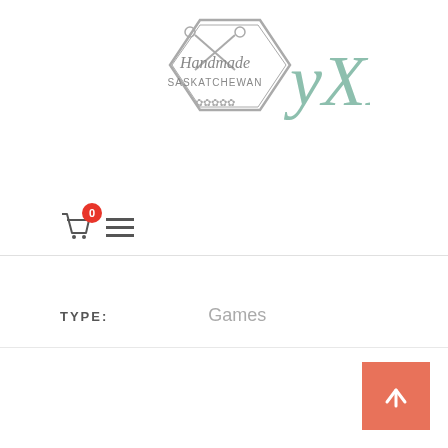[Figure (logo): Handmade Saskatchewan YXE logo: a hexagonal badge with scissors, wheat decoration, and cursive YXE text in teal/green]
[Figure (infographic): Navigation bar with shopping cart icon (badge showing 0) and hamburger menu icon]
TYPE: Games
SHARE:
[Figure (infographic): Social share icons: Facebook (f), Twitter (bird), Google+ (G+), Pinterest (P circle)]
[Figure (infographic): Back to top button: salmon/coral colored square with upward arrow]